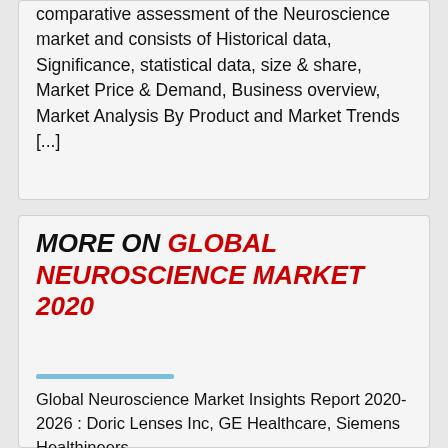comparative assessment of the Neuroscience market and consists of Historical data, Significance, statistical data, size & share, Market Price & Demand, Business overview, Market Analysis By Product and Market Trends [...]
MORE ON GLOBAL NEUROSCIENCE MARKET 2020
Global Neuroscience Market Insights Report 2020-2026 : Doric Lenses Inc, GE Healthcare, Siemens Healthineers